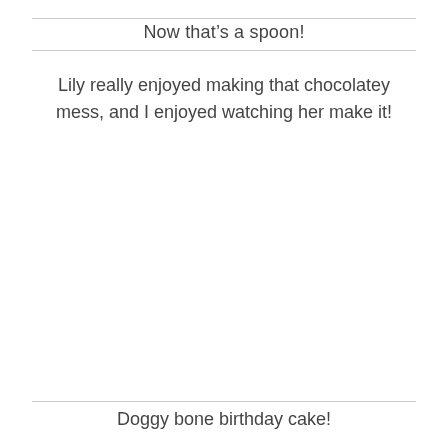Now that's a spoon!
Lily really enjoyed making that chocolatey mess, and I enjoyed watching her make it!
Doggy bone birthday cake!